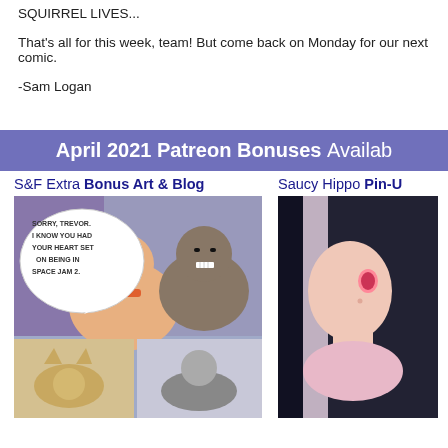SQUIRREL LIVES...
That's all for this week, team! But come back on Monday for our next comic.
-Sam Logan
[Figure (infographic): Purple banner reading 'April 2021 Patreon Bonuses Available']
[Figure (illustration): S&F Extra Bonus Art & Blog - comic panel showing two cartoon characters, one saying 'SORRY, TREVOR. I KNOW YOU HAD YOUR HEART SET ON BEING IN SPACE JAM 2.' with more panels below showing a cat and another scene]
[Figure (illustration): Saucy Hippo Pin-Up - illustration showing a dark-haired anime-style female character with pink eyes]